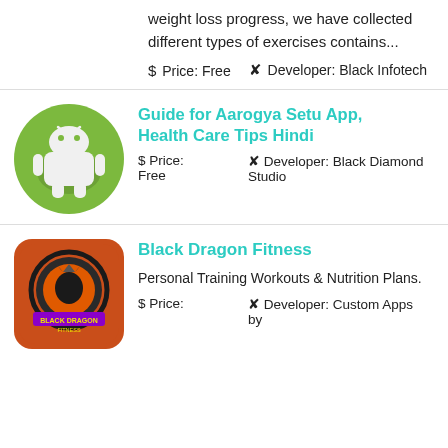weight loss progress, we have collected different types of exercises contains...
$ Price: Free   ✕ Developer: Black Infotech
[Figure (logo): Green circle Android robot logo icon]
Guide for Aarogya Setu App, Health Care Tips Hindi
$ Price: Free   ✕ Developer: Black Diamond Studio
[Figure (logo): Orange rounded square Black Dragon Fitness logo with dragon illustration]
Black Dragon Fitness
Personal Training Workouts & Nutrition Plans.
$ Price:   ✕ Developer: Custom Apps by